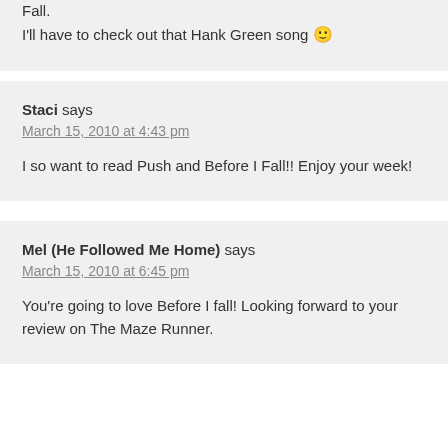Fall.

I'll have to check out that Hank Green song 🙂
Staci says
March 15, 2010 at 4:43 pm

I so want to read Push and Before I Fall!! Enjoy your week!
Mel (He Followed Me Home) says
March 15, 2010 at 6:45 pm

You're going to love Before I fall! Looking forward to your review on The Maze Runner.